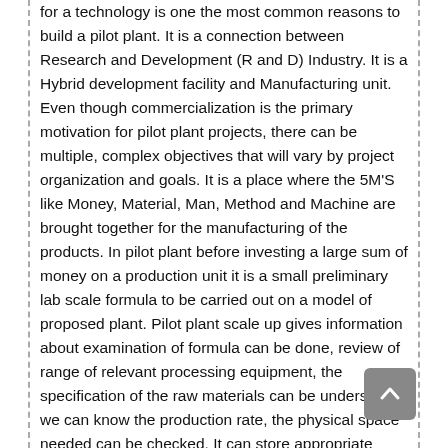for a technology is one the most common reasons to build a pilot plant. It is a connection between Research and Development (R and D) Industry. It is a Hybrid development facility and Manufacturing unit. Even though commercialization is the primary motivation for pilot plant projects, there can be multiple, complex objectives that will vary by project organization and goals. It is a place where the 5M'S like Money, Material, Man, Method and Machine are brought together for the manufacturing of the products. In pilot plant before investing a large sum of money on a production unit it is a small preliminary lab scale formula to be carried out on a model of proposed plant. Pilot plant scale up gives information about examination of formula can be done, review of range of relevant processing equipment, the specification of the raw materials can be understood, we can know the production rate, the physical space needed can be checked. It can store appropriate records and reports for analysis to support GMP process. Pilot plant scale up considerations for solids, liquids, semisolids is discussed here. The main